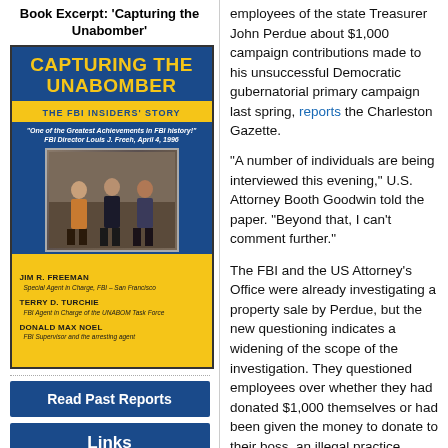Book Excerpt: 'Capturing the Unabomber'
[Figure (illustration): Book cover of 'Capturing the Unabomber: The FBI Insiders' Story' with blue background, yellow title text, yellow subtitle bar, a photo of three people standing outdoors, and author names Jim R. Freeman, Terry D. Turchie, Donald Max Noel on a yellow footer. Quote: 'One of the Greatest Achievements in FBI history!' - FBI Director Louis J. Freeh, April 4, 1996]
Read Past Reports
Links
employees of the state Treasurer John Perdue about $1,000 campaign contributions made to his unsuccessful Democratic gubernatorial primary campaign last spring, reports the Charleston Gazette.
“A number of individuals are being interviewed this evening,” U.S. Attorney Booth Goodwin told the paper. “Beyond that, I can’t comment further.”
The FBI and the US Attorney’s Office were already investigating a property sale by Perdue, but the new questioning indicates a widening of the scope of the investigation. They questioned employees over whether they had donated $1,000 themselves or had been given the money to donate to their boss, an illegal practice.
Thirty-five employees of the Treasurer’s Office donated $1,000 each — the maximu